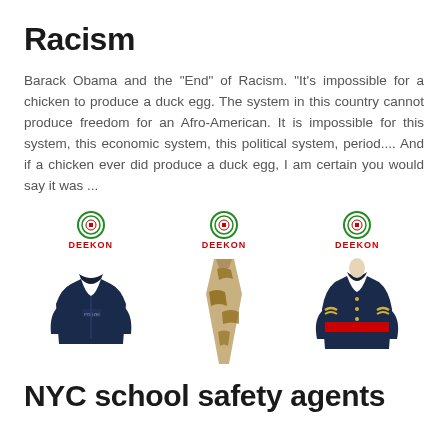Racism
Barack Obama and the "End" of Racism. "It's impossible for a chicken to produce a duck egg. The system in this country cannot produce freedom for an Afro-American. It is impossible for this system, this economic system, this political system, period.... And if a chicken ever did produce a duck egg, I am certain you would say it was ...
[Figure (photo): Three product images each with DEEKON brand logo: a dark navy police/tactical jacket, a tan/brown camouflage necktie, and a dark navy military dress uniform jacket with gold braiding and red sash.]
NYC school safety agents